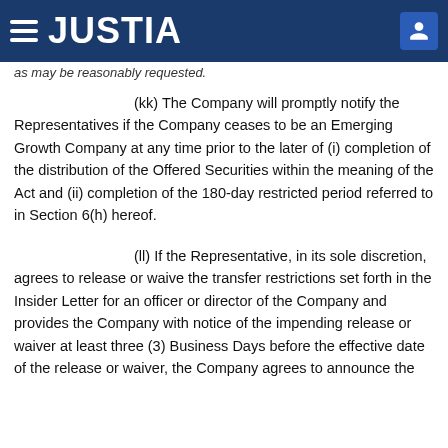JUSTIA
as may be reasonably requested.
(kk) The Company will promptly notify the Representatives if the Company ceases to be an Emerging Growth Company at any time prior to the later of (i) completion of the distribution of the Offered Securities within the meaning of the Act and (ii) completion of the 180-day restricted period referred to in Section 6(h) hereof.
(ll) If the Representative, in its sole discretion, agrees to release or waive the transfer restrictions set forth in the Insider Letter for an officer or director of the Company and provides the Company with notice of the impending release or waiver at least three (3) Business Days before the effective date of the release or waiver, the Company agrees to announce the